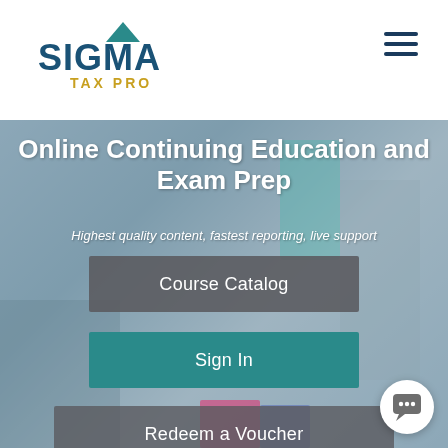[Figure (logo): Sigma Tax Pro logo with blue text and gold TAX PRO subtitle]
Online Continuing Education and Exam Prep
Highest quality content, fastest reporting, live support
Course Catalog
Sign In
Redeem a Voucher
Contact Web CE